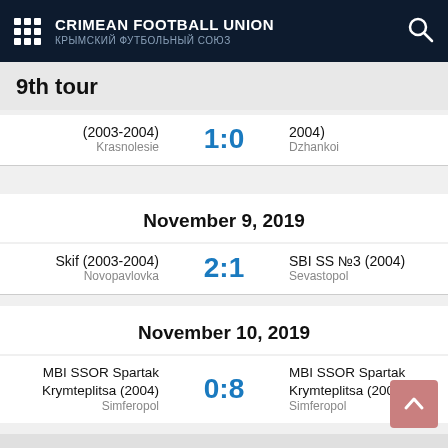CRIMEAN FOOTBALL UNION / КРЫМСКИЙ ФУТБОЛЬНЫЙ СОЮЗ
9th tour
(2003-2004) Krasnolesie  1:0  2004) Dzhankoi
November 9, 2019
Skif (2003-2004) Novopavlovka  2:1  SBI SS №3 (2004) Sevastopol
November 10, 2019
MBI SSOR Spartak Krymteplitsa (2004) Simferopol  0:8  MBI SSOR Spartak Krymteplitsa (2003) Simferopol